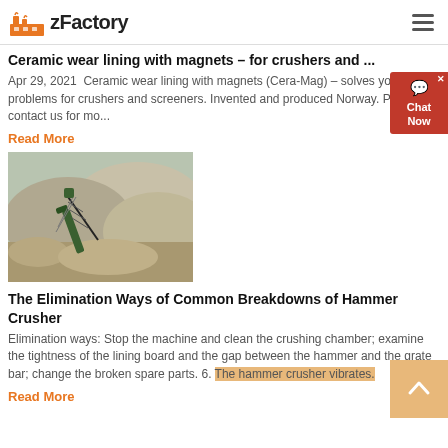zFactory
Ceramic wear lining with magnets – for crushers and ...
Apr 29, 2021  Ceramic wear lining with magnets (Cera-Mag) – solves your wear problems for crushers and screeners. Invented and produced Norway. Please contact us for mo...
Read More
[Figure (photo): Aerial view of a quarry or gravel pit with a green machine/conveyor on a large pile of crushed stone or gravel.]
The Elimination Ways of Common Breakdowns of Hammer Crusher
Elimination ways: Stop the machine and clean the crushing chamber; examine the tightness of the lining board and the gap between the hammer and the grate bar; change the broken spare parts. 6. The hammer crusher vibrates.
Read More